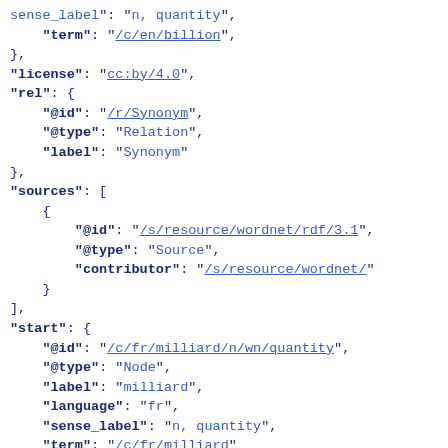JSON code snippet showing linked data fields including term, license, rel, sources, start, surfaceText, weight